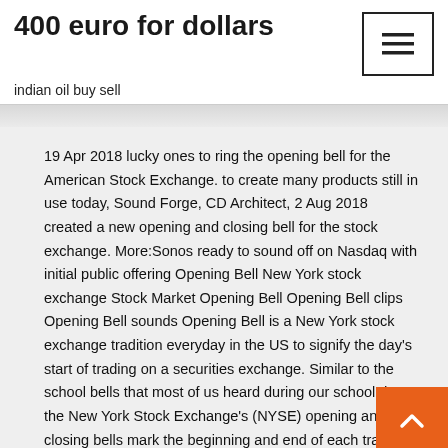400 euro for dollars
indian oil buy sell
19 Apr 2018 lucky ones to ring the opening bell for the American Stock Exchange. to create many products still in use today, Sound Forge, CD Architect,  2 Aug 2018 created a new opening and closing bell for the stock exchange. More:Sonos ready to sound off on Nasdaq with initial public offering  Opening Bell New York stock exchange Stock Market Opening Bell Opening Bell clips Opening Bell sounds Opening Bell is a New York stock exchange tradition everyday in the US to signify the day's start of trading on a securities exchange. Similar to the school bells that most of us heard during our school days, the New York Stock Exchange's (NYSE) opening and closing bells mark the beginning and end of each trading day. More specifically, the opening bell is rung at 9:30 a.m. to mark the start of the day's trading session. For about three seconds — three very long seconds — almost all you can hear on the floor of the New York